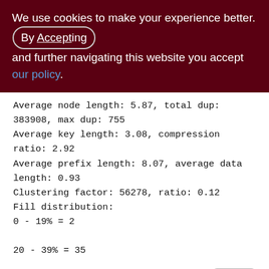We use cookies to make your experience better. By Accepting and further navigating this website you accept our policy.
Average node length: 5.87, total dup: 383908, max dup: 755
Average key length: 3.08, compression ratio: 2.92
Average prefix length: 8.07, average data length: 0.93
Clustering factor: 56278, ratio: 0.12
Fill distribution:
0 - 19% = 2
20 - 39% = 35
40 - 59% = 325
60 - 79% = 149